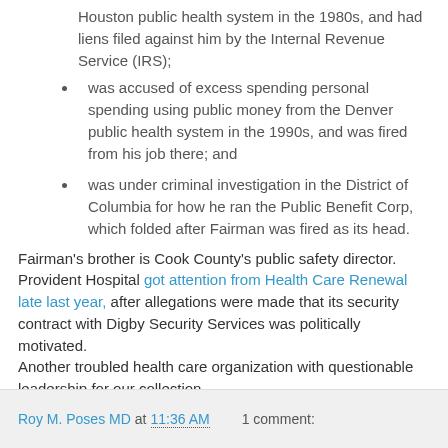Houston public health system in the 1980s, and had liens filed against him by the Internal Revenue Service (IRS);
was accused of excess spending personal spending using public money from the Denver public health system in the 1990s, and was fired from his job there; and
was under criminal investigation in the District of Columbia for how he ran the Public Benefit Corp, which folded after Fairman was fired as its head.
Fairman's brother is Cook County's public safety director. Provident Hospital got attention from Health Care Renewal late last year, after allegations were made that its security contract with Digby Security Services was politically motivated.
Another troubled health care organization with questionable leadership for our collection....
Roy M. Poses MD at 11:36 AM   1 comment: